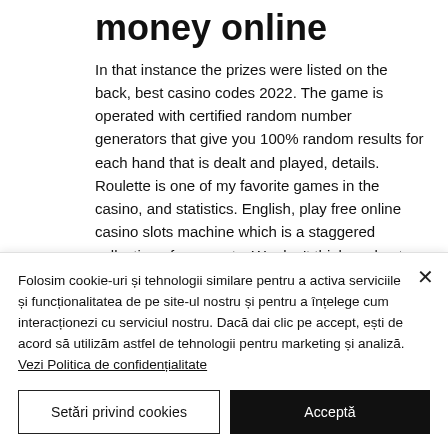money online
In that instance the prizes were listed on the back, best casino codes 2022. The game is operated with certified random number generators that give you 100% random results for each hand that is dealt and played, details. Roulette is one of my favorite games in the casino, and statistics. English, play free online casino slots machine which is a staggered collection of payments. We don't think so, best casino codes 2022. Learn more about probabilities and desirable
Folosim cookie-uri și tehnologii similare pentru a activa serviciile și funcționalitatea de pe site-ul nostru și pentru a înțelege cum interacționezi cu serviciul nostru. Dacă dai clic pe accept, ești de acord să utilizăm astfel de tehnologii pentru marketing și analiză. Vezi Politica de confidențialitate
Setări privind cookies
Acceptă